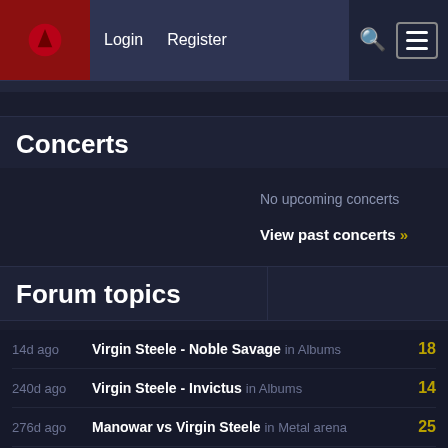Login  Register  [search] [menu]
Concerts
No upcoming concerts
View past concerts »
Forum topics
14d ago  Virgin Steele - Noble Savage in Albums  18
240d ago  Virgin Steele - Invictus in Albums  14
276d ago  Manowar vs Virgin Steele in Metal arena  25
397d ago  Virgin Steele - The Marriage Of Heaven And Hell Part II in Albums  7